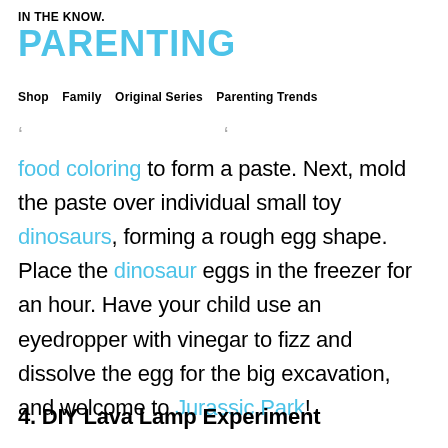IN THE KNOW.
PARENTING
Shop  Family  Original Series  Parenting Trends
food coloring to form a paste. Next, mold the paste over individual small toy dinosaurs, forming a rough egg shape. Place the dinosaur eggs in the freezer for an hour. Have your child use an eyedropper with vinegar to fizz and dissolve the egg for the big excavation, and welcome to Jurassic Park!
4. DIY Lava Lamp Experiment